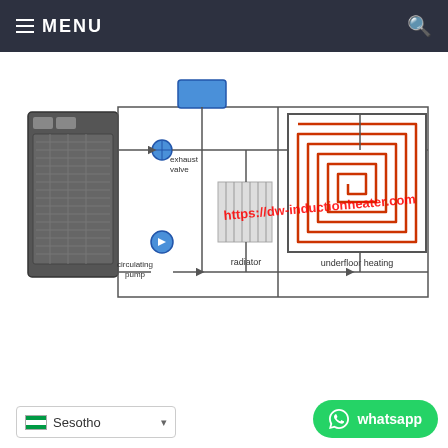MENU
[Figure (schematic): Induction heater heating system schematic showing: induction heater unit on left, exhaust valve (blue), circulating pump (blue), connecting pipes with flow arrows, radiator in center, underflow heating coil diagram on right, watermark text: https://dw-inductionheater.com]
Sesotho
whatsapp